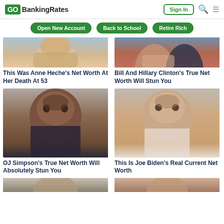GOBankingRates | Sign In
Open New Account | Back to School | Retire Rich
[Figure (photo): Portrait photo of Anne Heche (cropped, top portion)]
This Was Anne Heche's Net Worth At Her Death At 53
[Figure (photo): Portrait photo of Bill and Hillary Clinton (cropped, top portion)]
Bill And Hillary Clinton's True Net Worth Will Stun You
[Figure (photo): Portrait photo of OJ Simpson]
OJ Simpson's True Net Worth Will Absolutely Stun You
[Figure (photo): Portrait photo of Joe Biden]
This Is Joe Biden's Real Current Net Worth
[Figure (photo): Bottom left article image (partially visible)]
[Figure (photo): Bottom right article image (partially visible)]